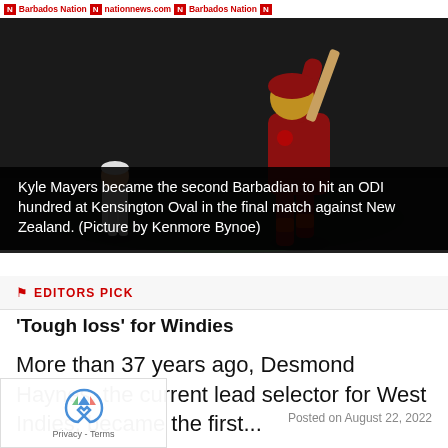N Barbados Nation N nationnews.com N Barbados Nation N
[Figure (photo): Cricket player (West Indies, maroon uniform) batting or jumping at Kensington Oval, with a fielder in white in the background]
Kyle Mayers became the second Barbadian to hit an ODI hundred at Kensington Oval in the final match against New Zealand. (Picture by Kenmore Bynoe)
EDITORS PICK
'Tough loss' for Windies
More than 37 years ago, Desmond Haynes, the current lead selector for West Indies, became the first...
Posted on August 22, 2022